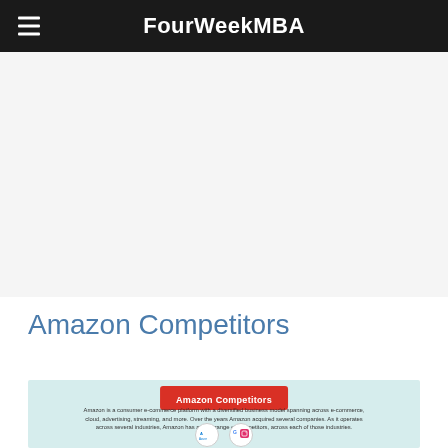FourWeekMBA
Amazon Competitors
[Figure (infographic): Amazon Competitors infographic showing Amazon is a consumer e-commerce platform with a diversified business model spanning across e-commerce, cloud, advertising, streaming, and more. Over the years Amazon acquired several companies. As it operates across several industries, Amazon has a wide range of competitors, across each of those industries. Logos of Azure, Google, Facebook/Instagram shown at the bottom.]